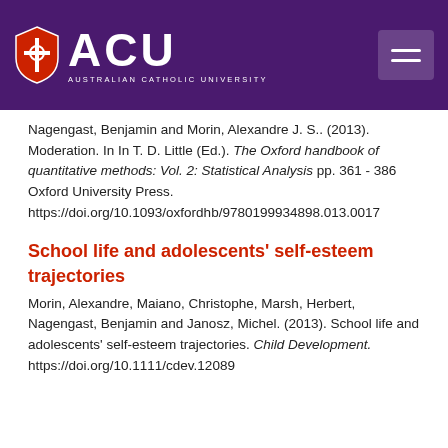[Figure (logo): Australian Catholic University (ACU) logo with shield and text on purple header bar with hamburger menu icon]
Nagengast, Benjamin and Morin, Alexandre J. S.. (2013). Moderation. In In T. D. Little (Ed.). The Oxford handbook of quantitative methods: Vol. 2: Statistical Analysis pp. 361 - 386 Oxford University Press. https://doi.org/10.1093/oxfordhb/9780199934898.013.0017
School life and adolescents' self-esteem trajectories
Morin, Alexandre, Maiano, Christophe, Marsh, Herbert, Nagengast, Benjamin and Janosz, Michel. (2013). School life and adolescents' self-esteem trajectories. Child Development. https://doi.org/10.1111/cdev.12089